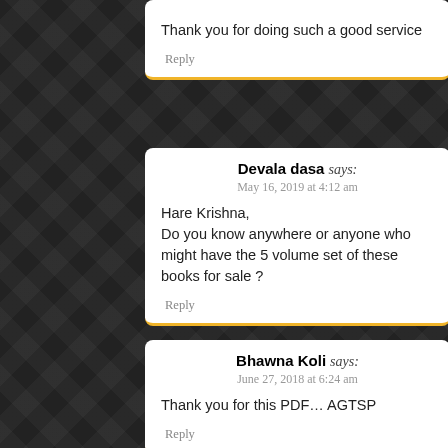Thank you for doing such a good service
Reply
Devala dasa says:
May 16, 2019 at 4:12 am
Hare Krishna,
Do you know anywhere or anyone who might have the 5 volume set of these books for sale ?
Reply
Bhawna Koli says:
June 27, 2018 at 6:24 am
Thank you for this PDF… AGTSP
Reply